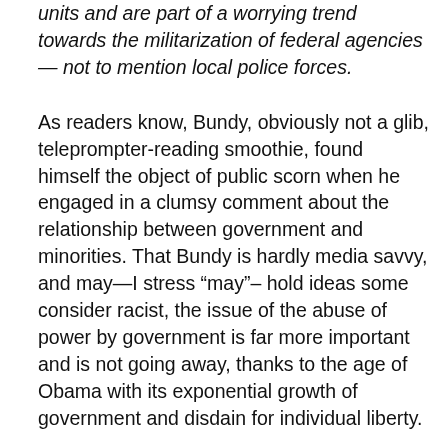units and are part of a worrying trend towards the militarization of federal agencies — not to mention local police forces.
As readers know, Bundy, obviously not a glib, teleprompter-reading smoothie, found himself the object of public scorn when he engaged in a clumsy comment about the relationship between government and minorities. That Bundy is hardly media savvy, and may—I stress "may"– hold ideas some consider racist, the issue of the abuse of power by government is far more important and is not going away, thanks to the age of Obama with its exponential growth of government and disdain for individual liberty.
As Fund notes, why should agencies like the Department of Agriculture, the Railroad Retirement Board, the Office of Personnel Management, and the Inspector General of...